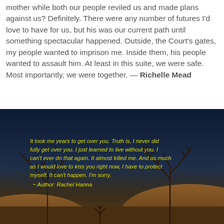mother while both our people reviled us and made plans against us? Definitely. There were any number of futures I'd love to have for us, but his was our current path until something spectacular happened. Outside, the Court's gates, my people wanted to imprison me. Inside them, his people wanted to assault him. At least in this suite, we were safe. Most importantly, we were together. — Richelle Mead
[Figure (illustration): Dark night sky scene with bare silhouetted trees and sand dunes, overlaid with yellow italic quote text: 'It took me years to get over you. Truth is, I never did fully get over you. I just learned to live without you. I can't ever do that again. It almost killed me. And as much as I would love to kiss you right now, I have to protect myself. It can't happen. I'm sorry. ~ Author: Rachel Hanna']